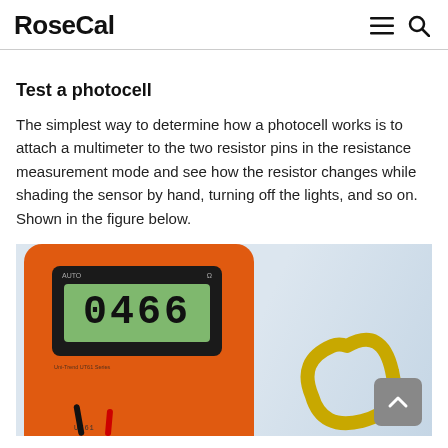RoseCal
Test a photocell
The simplest way to determine how a photocell works is to attach a multimeter to the two resistor pins in the resistance measurement mode and see how the resistor changes while shading the sensor by hand, turning off the lights, and so on. Shown in the figure below.
[Figure (photo): Photo of a digital multimeter with an orange body displaying a reading of 0466 on its LCD screen, with a yellow component visible on the right side.]